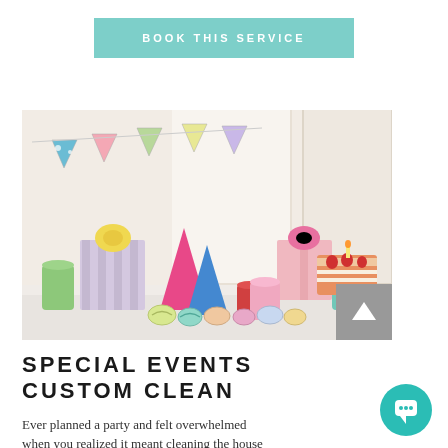BOOK THIS SERVICE
[Figure (photo): Party setup scene with colorful gift boxes, party hats, cups, candy, birthday cake, and bunting flags on a white surface.]
SPECIAL EVENTS CUSTOM CLEAN
Ever planned a party and felt overwhelmed when you realized it meant cleaning the house